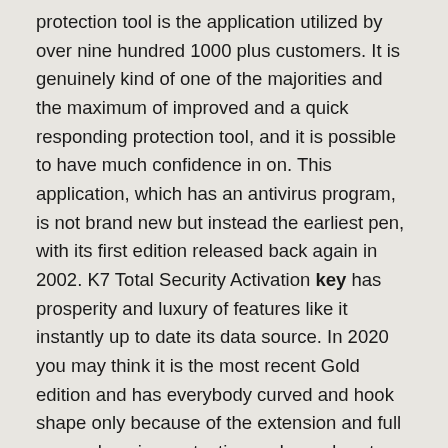protection tool is the application utilized by over nine hundred 1000 plus customers. It is genuinely kind of one of the majorities and the maximum of improved and a quick responding protection tool, and it is possible to have much confidence in on. This application, which has an antivirus program, is not brand new but instead the earliest pen, with its first edition released back again in 2002. K7 Total Security Activation key has prosperity and luxury of features like it instantly up to date its data source. In 2020 you may think it is the most recent Gold edition and has everybody curved and hook shape only because of the extension and full comprehensive protection and guard system that provides to the clients.
K7 Total Security Serial Key Free Download 2022